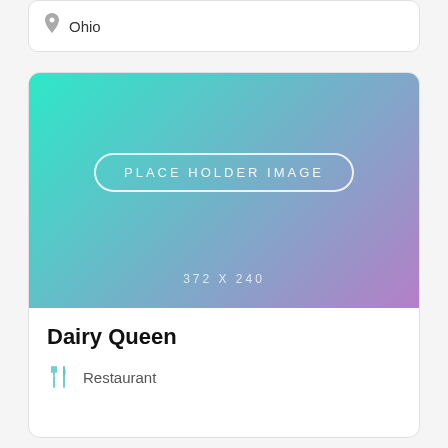Ohio
[Figure (illustration): Placeholder image with teal-to-purple gradient, labeled PLACE HOLDER IMAGE in a rounded rectangle border, with dimensions 372 x 240 shown below]
Dairy Queen
Restaurant